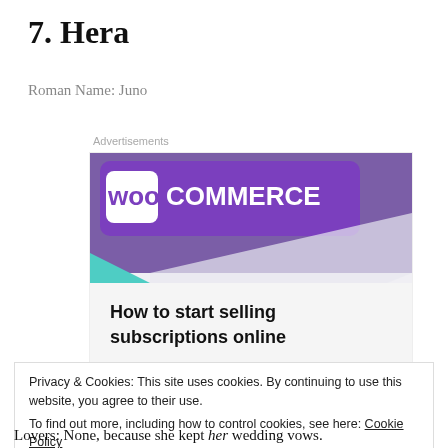7. Hera
Roman Name: Juno
Advertisements
[Figure (screenshot): WooCommerce advertisement banner showing 'How to start selling subscriptions online' with purple and teal design elements on a light gray background]
Privacy & Cookies: This site uses cookies. By continuing to use this website, you agree to their use.
To find out more, including how to control cookies, see here: Cookie Policy
Lovers: None, because she kept her wedding vows.